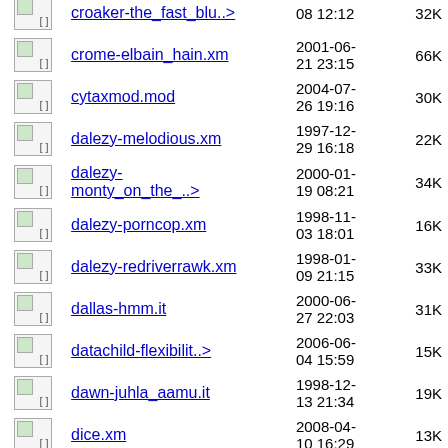| Icon | Name | Date | Size |
| --- | --- | --- | --- |
| [ ] | croaker-the_fast_blu..> | 08 12:12 | 32K |
| [ ] | crome-elbain_hain.xm | 2001-06-21 23:15 | 66K |
| [ ] | cytaxmod.mod | 2004-07-26 19:16 | 30K |
| [ ] | dalezy-melodious.xm | 1997-12-29 16:18 | 22K |
| [ ] | dalezy-monty_on_the_..> | 2000-01-19 08:21 | 34K |
| [ ] | dalezy-porncop.xm | 1998-11-03 18:01 | 16K |
| [ ] | dalezy-redriverrawk.xm | 1998-01-09 21:15 | 33K |
| [ ] | dallas-hmm.it | 2000-06-27 22:03 | 31K |
| [ ] | datachild-flexibilit..> | 2006-06-04 15:59 | 15K |
| [ ] | dawn-juhla_aamu.it | 1998-12-13 21:34 | 19K |
| [ ] | dice.xm | 2008-04-10 16:29 | 13K |
| [ ] | dlz-bkst.xm | 2004-07-... | 7.8K |